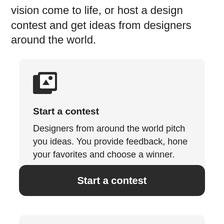vision come to life, or host a design contest and get ideas from designers around the world.
[Figure (illustration): Icon showing overlapping design/photo cards with geometric shapes (triangle, circle, square)]
Start a contest
Designers from around the world pitch you ideas. You provide feedback, hone your favorites and choose a winner.
Start a contest